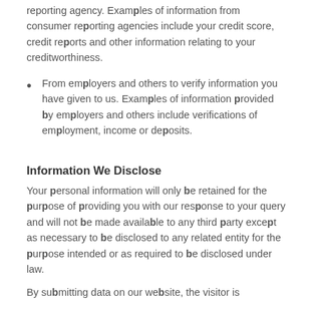reporting agency. Examples of information from consumer reporting agencies include your credit score, credit reports and other information relating to your creditworthiness.
From employers and others to verify information you have given to us. Examples of information provided by employers and others include verifications of employment, income or deposits.
Information We Disclose
Your personal information will only be retained for the purpose of providing you with our response to your query and will not be made available to any third party except as necessary to be disclosed to any related entity for the purpose intended or as required to be disclosed under law.
By submitting data on our website, the visitor is